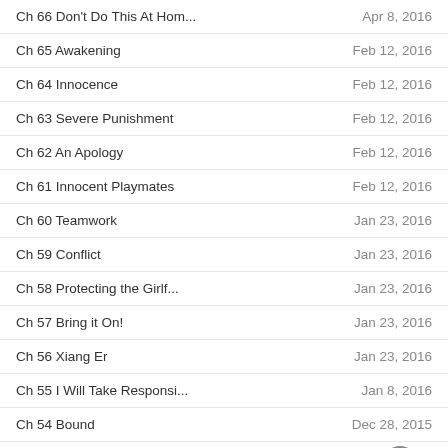Ch 66 Don't Do This At Hom...	Apr 8, 2016
Ch 65 Awakening	Feb 12, 2016
Ch 64 Innocence	Feb 12, 2016
Ch 63 Severe Punishment	Feb 12, 2016
Ch 62 An Apology	Feb 12, 2016
Ch 61 Innocent Playmates	Feb 12, 2016
Ch 60 Teamwork	Jan 23, 2016
Ch 59 Conflict	Jan 23, 2016
Ch 58 Protecting the Girlf...	Jan 23, 2016
Ch 57 Bring it On!	Jan 23, 2016
Ch 56 Xiang Er	Jan 23, 2016
Ch 55 I Will Take Responsi...	Jan 8, 2016
Ch 54 Bound	Dec 28, 2015
Ch 53 Confrontation	Dec 24, 2015
Ch 52 Infinite Crisis	Oct 26, 2015
Ch 51 Living With Explosio...	Sep 28, 2015
Ch 50 Have a night flight	Sep 7, 2015
Ch 49 There's no way to ke...	Sep 2, 2015